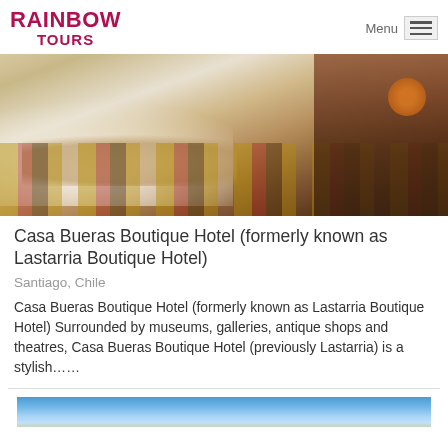RAINBOW TOURS — Menu
[Figure (photo): Hotel room interior showing a bed with floral bedspread and throw, colorful striped carpet, dark wood furniture, and decorative wall panels]
Casa Bueras Boutique Hotel (formerly known as Lastarria Boutique Hotel)
Santiago, Chile
Casa Bueras Boutique Hotel (formerly known as Lastarria Boutique Hotel) Surrounded by museums, galleries, antique shops and theatres, Casa Bueras Boutique Hotel (previously Lastarria) is a stylish……
[Figure (photo): Partial view of a blue sky with clouds — bottom strip of another hotel listing photo]